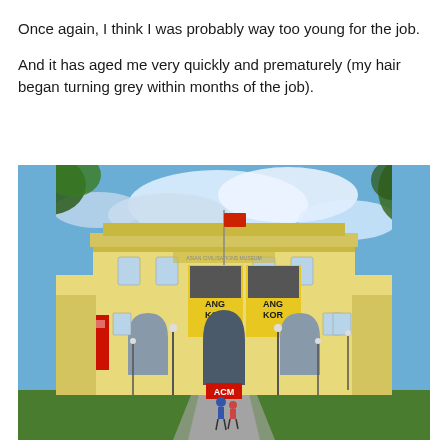Once again, I think I was probably way too young for the job.

And it has aged me very quickly and prematurely (my hair began turning grey within months of the job).
[Figure (photo): Exterior photograph of the Asian Civilisations Museum (ACM) in Singapore. The colonial-era yellow and white neoclassical building is shown from the front, with red banners advertising an Angkor exhibition hanging on the facade, a red flag on a flagpole, street lamps, trees, green lawn, and two people walking toward the entrance.]